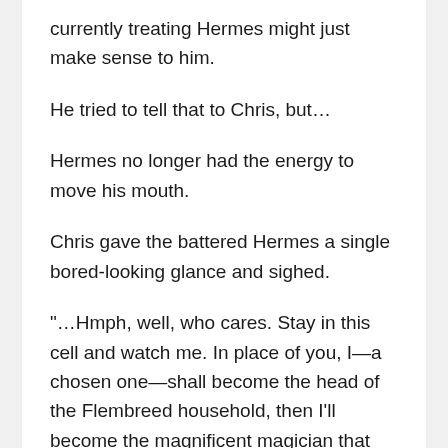currently treating Hermes might just make sense to him.
He tried to tell that to Chris, but…
Hermes no longer had the energy to move his mouth.
Chris gave the battered Hermes a single bored-looking glance and sighed.
“…Hmph, well, who cares. Stay in this cell and watch me. In place of you, I—a chosen one—shall become the head of the Flembreed household, then I’ll become the magnificent magician that you wanted to be! AHAHAHAHAHA!”
Just like that, Chris showed Hermes his magic and